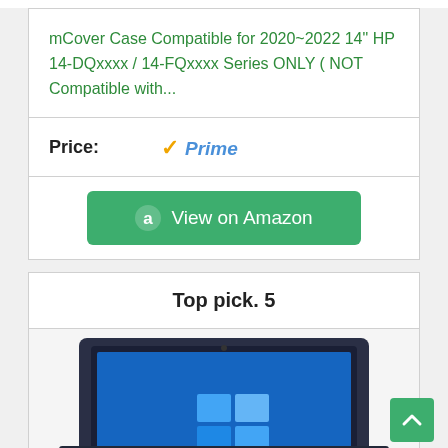mCover Case Compatible for 2020~2022 14" HP 14-DQxxxx / 14-FQxxxx Series ONLY ( NOT Compatible with...
Price:
[Figure (logo): Amazon Prime badge with orange checkmark and italic blue Prime text]
[Figure (other): Green View on Amazon button with Amazon 'a' logo icon]
Top pick. 5
[Figure (photo): HP laptop with blue Windows 10 desktop on screen, dark blue/navy color laptop body]